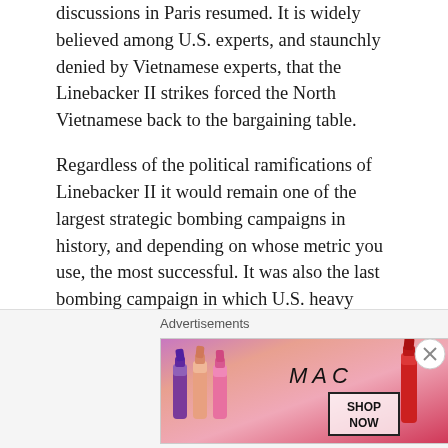discussions in Paris resumed. It is widely believed among U.S. experts, and staunchly denied by Vietnamese experts, that the Linebacker II strikes forced the North Vietnamese back to the bargaining table.
Regardless of the political ramifications of Linebacker II it would remain one of the largest strategic bombing campaigns in history, and depending on whose metric you use, the most successful. It was also the last bombing campaign in which U.S. heavy bombers shot down enemy aircraft using guns in an air-to-air engagement, and the B-52 Stratofortress remains the largest aircraft in history to have shot down another aircraft in flight using guns.
[Figure (other): Advertisement banner for MAC cosmetics showing lipsticks with 'SHOP NOW' button]